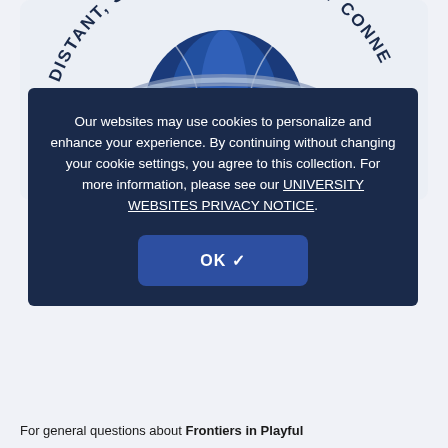[Figure (logo): University or organization circular logo with a globe graphic. Curved text around the top reads 'ICALLY DISTANT, SOCIALLY & GLOBALLY CONNE' (partially visible). Blue and gray globe with Saturn-like ring. Dark navy background arc.]
Our websites may use cookies to personalize and enhance your experience. By continuing without changing your cookie settings, you agree to this collection. For more information, please see our UNIVERSITY WEBSITES PRIVACY NOTICE.
OK ✓
For general questions about Frontiers in Playful